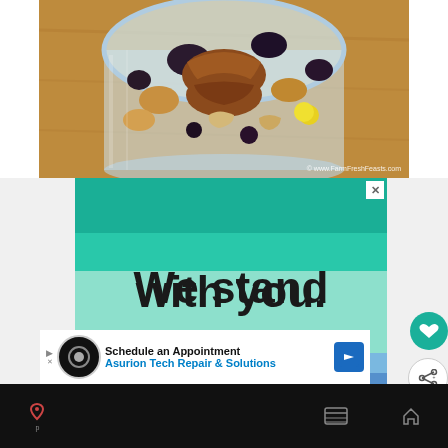[Figure (photo): Overhead view of a glass jar filled with trail mix including pecans, raisins, nuts, and yellow candy pieces on a wooden surface. Watermark reads: © www.FarmFreshFeasts.com]
[Figure (infographic): Advertisement with teal and purple horizontal color stripes. Large bold text reads 'We stand with you.' with a close button (X) in the top right corner.]
Schedule an Appointment
Asurion Tech Repair & Solutions